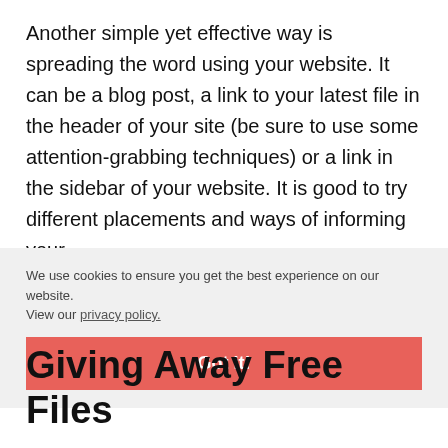Another simple yet effective way is spreading the word using your website. It can be a blog post, a link to your latest file in the header of your site (be sure to use some attention-grabbing techniques) or a link in the sidebar of your website. It is good to try different placements and ways of informing your
We use cookies to ensure you get the best experience on our website. View our privacy policy.
Got it!
Giving Away Free Files